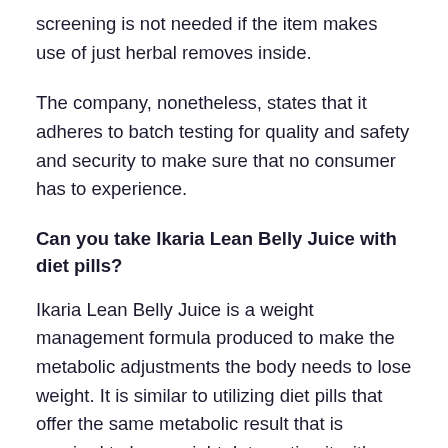screening is not needed if the item makes use of just herbal removes inside.
The company, nonetheless, states that it adheres to batch testing for quality and safety and security to make sure that no consumer has to experience.
Can you take Ikaria Lean Belly Juice with diet pills?
Ikaria Lean Belly Juice is a weight management formula produced to make the metabolic adjustments the body needs to lose weight. It is similar to utilizing diet pills that offer the same metabolic result that is required to lose weight. Integrating it with a diet plan pill means you are